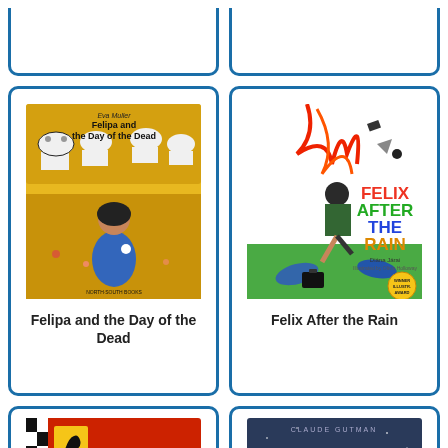[Figure (illustration): Top-left book card (partial, cropped at top)]
[Figure (illustration): Top-right book card (partial, cropped at top)]
[Figure (illustration): Book cover: Felipa and the Day of the Dead - children's picture book with girl sitting in yellow field, cows above]
Felipa and the Day of the Dead
[Figure (illustration): Book cover: Felix After the Rain - colorful children's book with running figure and red splashes, Winner Illustration Award badge]
Felix After the Rain
[Figure (illustration): Book cover: Ferrari The History of a Legend - red cover with Ferrari logo and race car]
[Figure (illustration): Book cover: Fighting Back by Claude Gutman - dark blue cover with city skyline and italic title text]